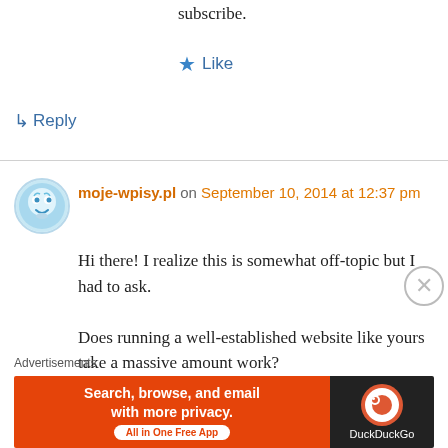subscribe.
★ Like
↳ Reply
moje-wpisy.pl on September 10, 2014 at 12:37 pm
Hi there! I realize this is somewhat off-topic but I had to ask.

Does running a well-established website like yours take a massive amount work?
I am completely new to blogging however I do write in my journal everyday.
Advertisements
[Figure (screenshot): DuckDuckGo advertisement banner: orange background with text 'Search, browse, and email with more privacy. All in One Free App' and DuckDuckGo logo on dark right panel]